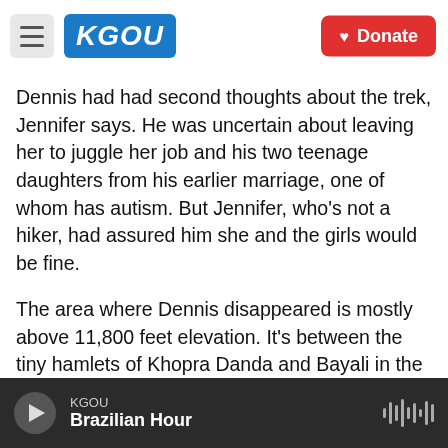[Figure (screenshot): KGOU public radio website header with hamburger menu, KGOU logo in blue, city photo background, and red Donate button]
Dennis had had second thoughts about the trek, Jennifer says. He was uncertain about leaving her to juggle her job and his two teenage daughters from his earlier marriage, one of whom has autism. But Jennifer, who's not a hiker, had assured him she and the girls would be fine.
The area where Dennis disappeared is mostly above 11,800 feet elevation. It's between the tiny hamlets of Khopra Danda and Bayali in the center of the Annapurna Circuit, with an achingly beautiful panorama of mountains, rising nearly 26,000 feet above sea level.
KGOU | Brazilian Hour